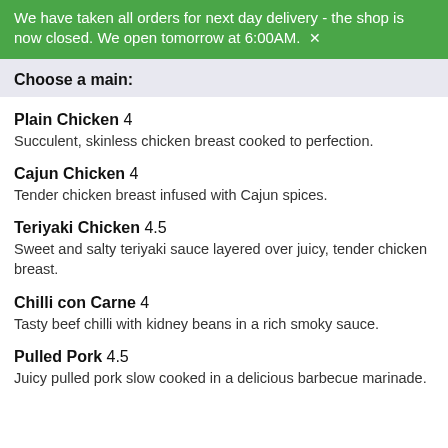We have taken all orders for next day delivery - the shop is now closed. We open tomorrow at 6:00AM. ×
Choose a main:
Plain Chicken 4 — Succulent, skinless chicken breast cooked to perfection.
Cajun Chicken 4 — Tender chicken breast infused with Cajun spices.
Teriyaki Chicken 4.5 — Sweet and salty teriyaki sauce layered over juicy, tender chicken breast.
Chilli con Carne 4 — Tasty beef chilli with kidney beans in a rich smoky sauce.
Pulled Pork 4.5 — Juicy pulled pork slow cooked in a delicious barbecue marinade.